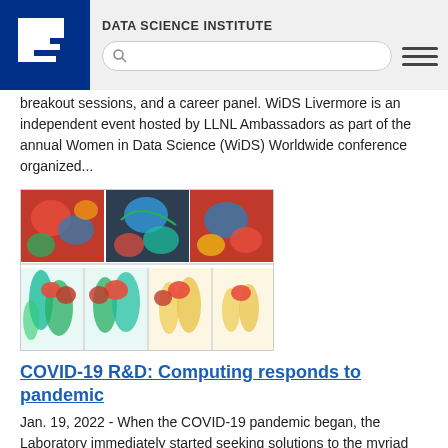DATA SCIENCE INSTITUTE
breakout sessions, and a career panel. WiDS Livermore is an independent event hosted by LLNL Ambassadors as part of the annual Women in Data Science (WiDS) Worldwide conference organized...
[Figure (photo): Scientific visualization image showing molecular structures and protein models with colorful rendering in multiple panels]
COVID-19 R&D: Computing responds to pandemic
Jan. 19, 2022 - When the COVID-19 pandemic began, the Laboratory immediately started seeking solutions to the myriad challenges posed by the global crisis. The Computing Directorate jumped right in with research and development